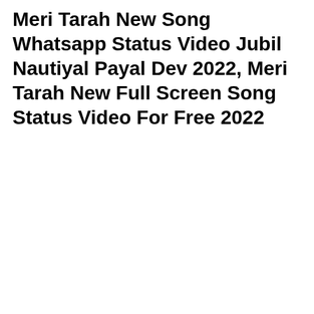Meri Tarah New Song Whatsapp Status Video Jubil Nautiyal Payal Dev 2022, Meri Tarah New Full Screen Song Status Video For Free 2022